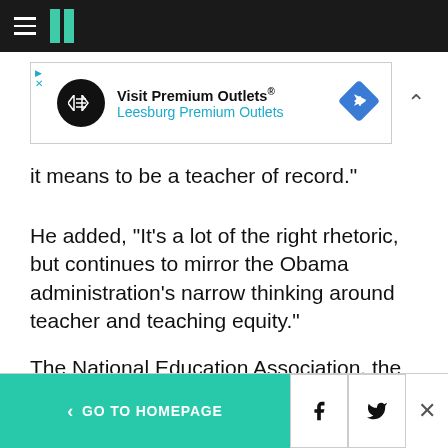HuffPost navigation logo
[Figure (other): Advertisement banner for Visit Premium Outlets / Leesburg Premium Outlets]
it means to be a teacher of record."
He added, "It's a lot of the right rhetoric, but continues to mirror the Obama administration's narrow thinking around teacher and teaching equity."
The National Education Association, the nation's largest teachers union, is on board with the plan -- despite having voted for a measure calling for
< GO TO HOMEPAGE | Facebook | Twitter | X